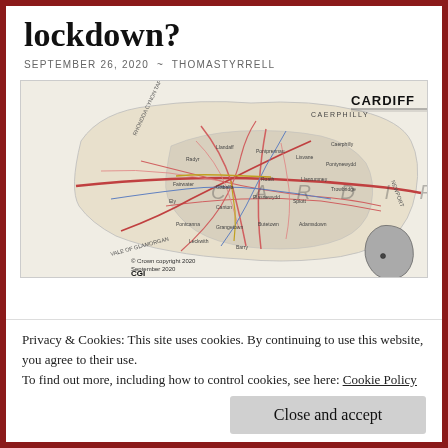lockdown?
SEPTEMBER 26, 2020 ~ THOMASTYRRELL
[Figure (map): Map of Cardiff showing roads, neighbourhoods, and surrounding areas including Caerphilly, Rhondda Cynon Taf, Vale of Glamorgan, and Newport. The map shows Cardiff city boundaries with major roads, districts, and an inset showing Cardiff's location within Wales. Published by CGI, September 2020.]
Privacy & Cookies: This site uses cookies. By continuing to use this website, you agree to their use.
To find out more, including how to control cookies, see here: Cookie Policy
Close and accept